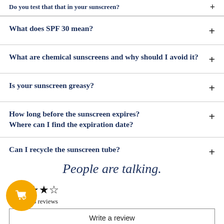What does SPF 30 mean?
What are chemical sunscreens and why should I avoid it?
Is your sunscreen greasy?
How long before the sunscreen expires? Where can I find the expiration date?
Can I recycle the sunscreen tube?
People are talking.
Based on 3 reviews
Write a review
Ask a question